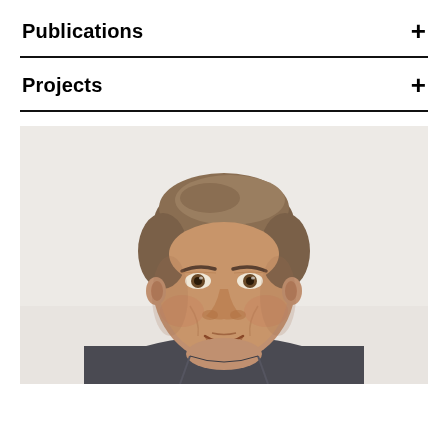Publications
Projects
[Figure (photo): Headshot photo of a middle-aged man with short brown/grey hair, facing forward, slight smile, wearing a dark jacket, against a plain light background.]